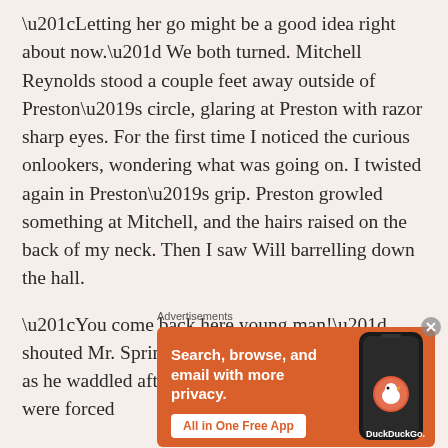“Letting her go might be a good idea right about now.” We both turned. Mitchell Reynolds stood a couple feet away outside of Preston’s circle, glaring at Preston with razor sharp eyes. For the first time I noticed the curious onlookers, wondering what was going on. I twisted again in Preston’s grip. Preston growled something at Mitchell, and the hairs raised on the back of my neck. Then I saw Will barrelling down the hall.
“You come back here young man!” shouted Mr. Springfield, the detention supervisor, as he waddled after him. Preston’s groupies were forced
Advertisements
[Figure (other): DuckDuckGo advertisement banner with orange background. Text reads: Search, browse, and email with more privacy. All in One Free App. Shows a smartphone with DuckDuckGo logo.]